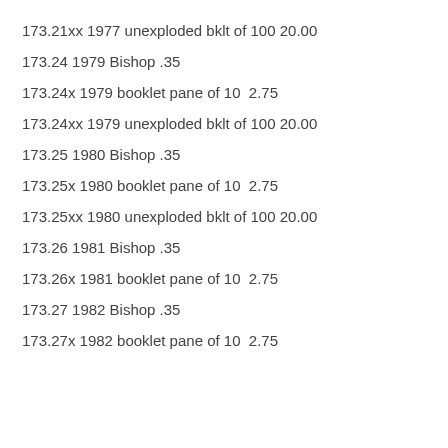173.21xx 1977 unexploded bklt of 100 20.00
173.24 1979 Bishop .35
173.24x 1979 booklet pane of 10  2.75
173.24xx 1979 unexploded bklt of 100 20.00
173.25 1980 Bishop .35
173.25x 1980 booklet pane of 10  2.75
173.25xx 1980 unexploded bklt of 100 20.00
173.26 1981 Bishop .35
173.26x 1981 booklet pane of 10  2.75
173.27 1982 Bishop .35
173.27x 1982 booklet pane of 10  2.75